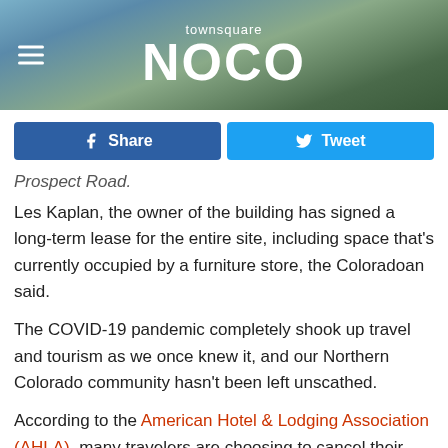[Figure (screenshot): Townsquare NOCO website header banner with mountain landscape background, hamburger menu icon on left, and logo text 'townsquare NOCO' centered.]
[Figure (infographic): Social sharing buttons: blue Facebook Share button and lighter blue Twitter Tweet button side by side.]
Prospect Road.
Les Kaplan, the owner of the building has signed a long-term lease for the entire site, including space that's currently occupied by a furniture store, the Coloradoan said.
The COVID-19 pandemic completely shook up travel and tourism as we once knew it, and our Northern Colorado community hasn't been left unscathed.
According to the American Hotel & Lodging Association (AHLA), many travelers are choosing to cancel their trips - without any plans to postpone - due to rising COVID-19 cases.